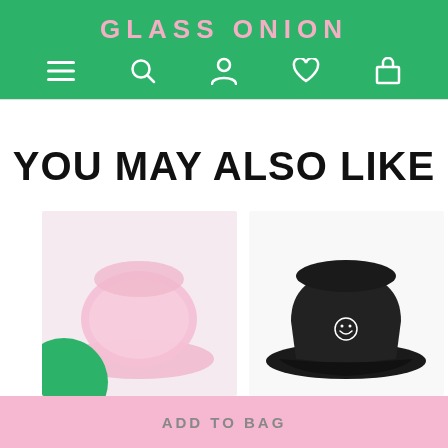GLASS ONION
YOU MAY ALSO LIKE
[Figure (screenshot): Product card 1: pink fluffy bucket hat on light pink background with green circle overlay]
[Figure (screenshot): Product card 2: black bucket hat with smiley face embroidery on white background]
[Figure (screenshot): Product card 3 (partially visible): person stretching in lavender/pink setting]
ADD TO BAG